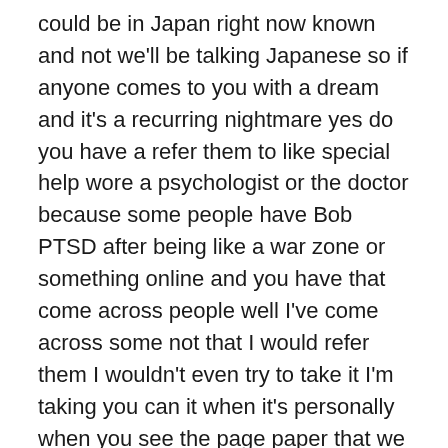could be in Japan right now known and not we'll be talking Japanese so if anyone comes to you with a dream and it's a recurring nightmare yes do you have a refer them to like special help wore a psychologist or the doctor because some people have Bob PTSD after being like a war zone or something online and you have that come across people well I've come across some not that I would refer them I wouldn't even try to take it I'm taking you can it when it's personally when you see the page paper that we are one to one and you actually can top to tell what the person's a lot is that nervous to see this so easy that you know I say it's been amazing a one night it was funny we had to I had the mother sit in the chair then the father set the chair this is not you know three bears but mother and father and if I tell him because they worried about the sun and then this is to set the J. O. telling me about the fact that what the worries of the sun they still worried about the sun and and what is strange out I didn't get to